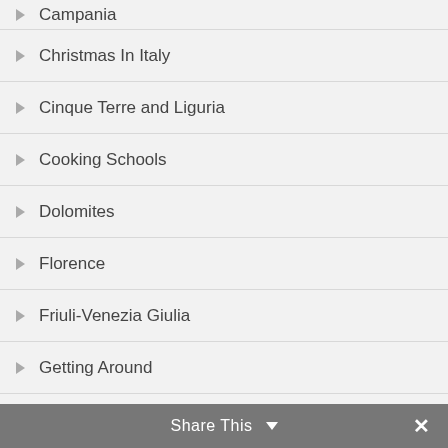Campania
Christmas In Italy
Cinque Terre and Liguria
Cooking Schools
Dolomites
Florence
Friuli-Venezia Giulia
Getting Around
Italian Ancestry + Italian Citizenship
Italian Life + History
Italian Recipes
Italy in America
Share This ∨  ✕